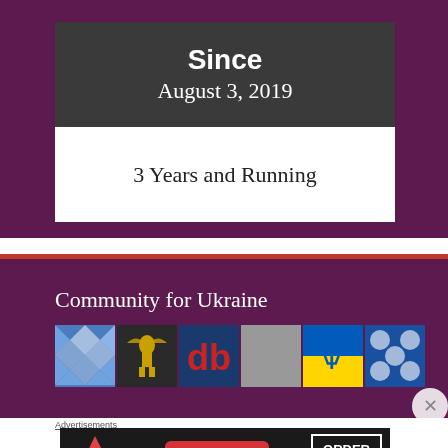Since
August 3, 2019
3 Years and Running
Community for Ukraine
[Figure (illustration): Row of community avatars/thumbnails: blue diamond quilt pattern, golden winged statue, red 'db' logo, gray square, Ukrainian flag with trident, blue diamond pattern]
Advertisements
[Figure (screenshot): Seamless food delivery advertisement banner with pizza image, red Seamless button, and ORDER NOW button on dark background]